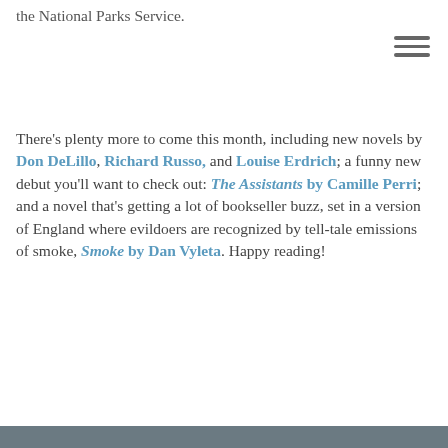the National Parks Service.
[Figure (other): Hamburger menu icon (three horizontal lines)]
There's plenty more to come this month, including new novels by Don DeLillo, Richard Russo, and Louise Erdrich; a funny new debut you'll want to check out: The Assistants by Camille Perri; and a novel that's getting a lot of bookseller buzz, set in a version of England where evildoers are recognized by tell-tale emissions of smoke, Smoke by Dan Vyleta. Happy reading!